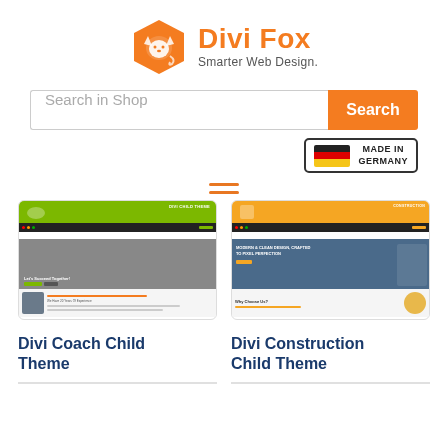[Figure (logo): Divi Fox logo with orange hexagon fox icon and text 'Divi Fox Smarter Web Design.']
Search in Shop
Search
[Figure (other): Made in Germany badge with German flag]
[Figure (other): Hamburger menu icon with three orange lines]
[Figure (screenshot): Divi Coach Child Theme website screenshot mockup]
[Figure (screenshot): Divi Construction Child Theme website screenshot mockup]
Divi Coach Child Theme
Divi Construction Child Theme